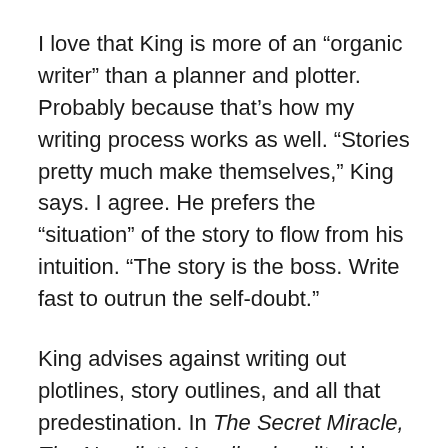I love that King is more of an “organic writer” than a planner and plotter. Probably because that’s how my writing process works as well. “Stories pretty much make themselves,” King says. I agree. He prefers the “situation” of the story to flow from his intuition. “The story is the boss. Write fast to outrun the self-doubt.”
King advises against writing out plotlines, story outlines, and all that predestination. In The Secret Miracle, The Novelist’s Handbook, edited by Daniel Alarcon, Stephen King is quoted as saying he “never” outlines. Some people believe the old axiom that ‘plotting and spontaneity of real creation are not compatible.’ For organic writers this is often true.
Another book on writing is Steven James’ Story Trumps Structure. Here, Steven James echoes King’s standard for